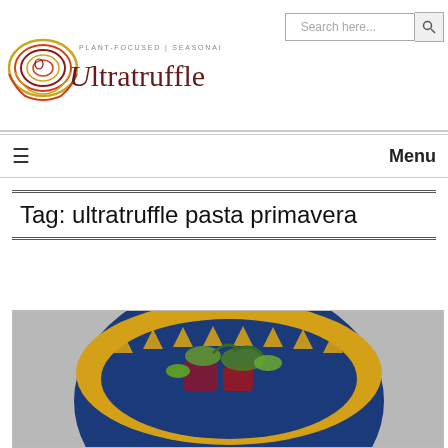[Figure (logo): Ultratruffle logo with circular concentric design in red, yellow, and dark red, tagline 'PLANT-FOCUSED SEASONAL CUISINE', and brand name 'Ultratruffle' in dark red serif font]
Search here...
≡  Menu
Tag: ultratruffle pasta primavera
[Figure (photo): Photo of a decorative blue and yellow patterned bowl containing colorful food including what appears to be beets, greens, and other vegetables]